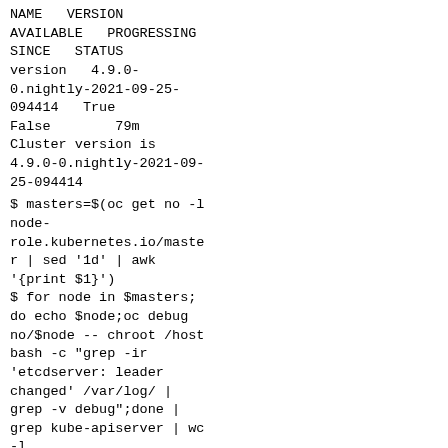NAME   VERSION
AVAILABLE   PROGRESSING SINCE   STATUS
version   4.9.0-0.nightly-2021-09-25-094414   True False        79m
Cluster version is 4.9.0-0.nightly-2021-09-25-094414
$ masters=$(oc get no -l node-role.kubernetes.io/master | sed '1d' | awk '{print $1}')
$ for node in $masters; do echo $node;oc debug no/$node -- chroot /host bash -c "grep -ir 'etcdserver: leader changed' /var/log/ | grep -v debug";done | grep kube-apiserver | wc -l
...
12
Snipped logs, /var/log/pods/openshift-kube-apiserver-